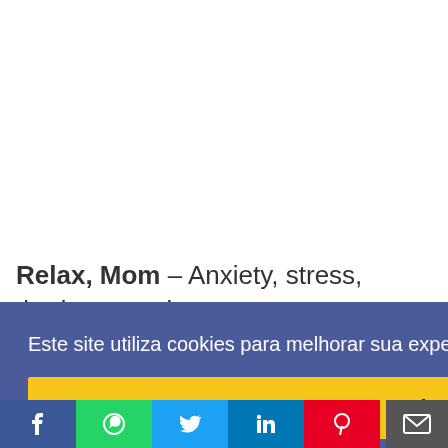Relax, Mom – Anxiety, stress, tiredness and
Este site utiliza cookies para melhorar sua experiência de navegação. Saiba mais
Ok
[Figure (screenshot): Scroll-to-top button (blue arrow up) and mail icon on right side]